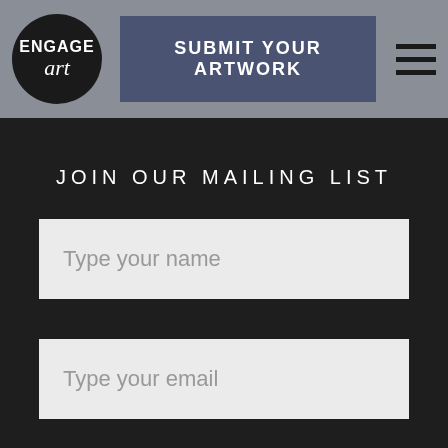[Figure (logo): Engage Art logo: black circle with ENGAGE text and stylized art script]
SUBMIT YOUR ARTWORK
[Figure (other): Hamburger menu icon with three horizontal lines]
JOIN OUR MAILING LIST
Type your name
Type your email
[Figure (other): reCAPTCHA widget: checkbox, I'm not a robot text, reCAPTCHA logo, Privacy and Terms links]